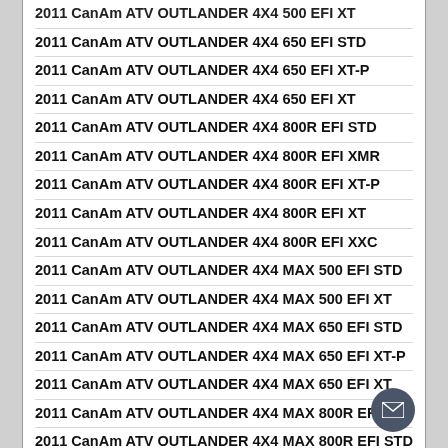2011 CanAm ATV OUTLANDER 4X4 500 EFI XT
2011 CanAm ATV OUTLANDER 4X4 650 EFI STD
2011 CanAm ATV OUTLANDER 4X4 650 EFI XT-P
2011 CanAm ATV OUTLANDER 4X4 650 EFI XT
2011 CanAm ATV OUTLANDER 4X4 800R EFI STD
2011 CanAm ATV OUTLANDER 4X4 800R EFI XMR
2011 CanAm ATV OUTLANDER 4X4 800R EFI XT-P
2011 CanAm ATV OUTLANDER 4X4 800R EFI XT
2011 CanAm ATV OUTLANDER 4X4 800R EFI XXC
2011 CanAm ATV OUTLANDER 4X4 MAX 500 EFI STD
2011 CanAm ATV OUTLANDER 4X4 MAX 500 EFI XT
2011 CanAm ATV OUTLANDER 4X4 MAX 650 EFI STD
2011 CanAm ATV OUTLANDER 4X4 MAX 650 EFI XT-P
2011 CanAm ATV OUTLANDER 4X4 MAX 650 EFI XT
2011 CanAm ATV OUTLANDER 4X4 MAX 800R EFI LTD
2011 CanAm ATV OUTLANDER 4X4 MAX 800R EFI STD
2011 CanAm ATV OUTLANDER 4X4 MAX 800R EFI XT-P
2011 CanAm ATV OUTLANDER 4X4 MAX 800R EFI XT
2011 CanAm ATV RENEGADE 4X4 500 EFI
2011 CanAm ATV RENEGADE 4X4 800R EFI STD
2011 CanAm ATV RENEGADE 4X4 800R EFI XXC
2011 CanAm Street Bike Spyder RS Roadster SE5 Auto